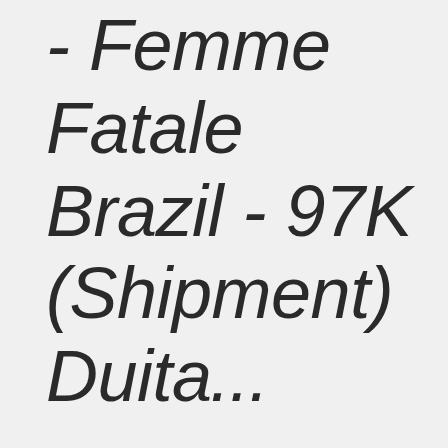- Femme Fatale Brazil - 97K (Shipment) Duit...